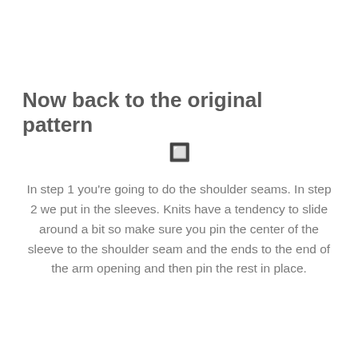Now back to the original pattern
🔲
In step 1 you're going to do the shoulder seams. In step 2 we put in the sleeves. Knits have a tendency to slide around a bit so make sure you pin the center of the sleeve to the shoulder seam and the ends to the end of the arm opening and then pin the rest in place.